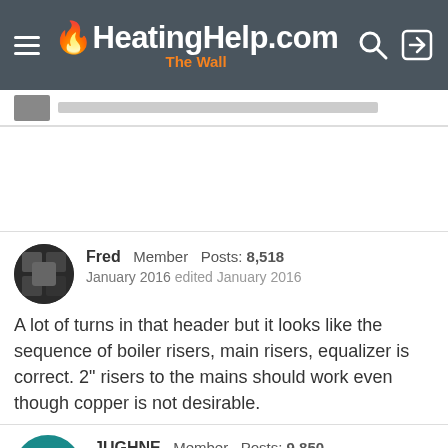HeatingHelp.com — The Wall
[Figure (screenshot): Partial post with avatar image and blurred content bar]
Fred  Member  Posts: 8,518
January 2016  edited January 2016

A lot of turns in that header but it looks like the sequence of boiler risers, main risers, equalizer is correct. 2" risers to the mains should work even though copper is not desirable.
JUGHNE  Member  Posts: 9,850
January 2016